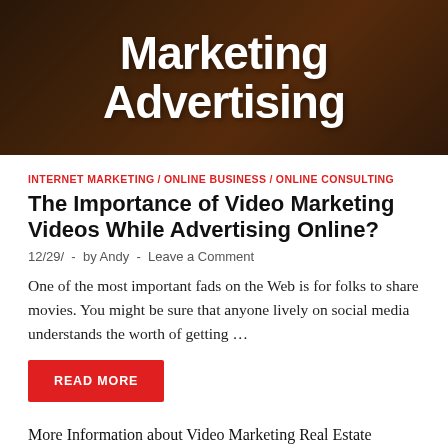[Figure (illustration): Dark brown/orange toned background image with bold white text overlaid reading 'Marketing Advertising']
INTERNET MARKETING / ONLINE BUSINESS / ONLINE CONSULTING
The Importance of Video Marketing Videos While Advertising Online?
12/29/ - by Andy - Leave a Comment
One of the most important fads on the Web is for folks to share movies. You might be sure that anyone lively on social media understands the worth of getting ...
READ MORE
More Information about Video Marketing Real Estate